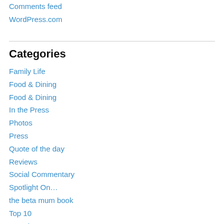Comments feed
WordPress.com
Categories
Family Life
Food & Dining
Food & Dining
In the Press
Photos
Press
Quote of the day
Reviews
Social Commentary
Spotlight On…
the beta mum book
Top 10
Travel
Uncategorized